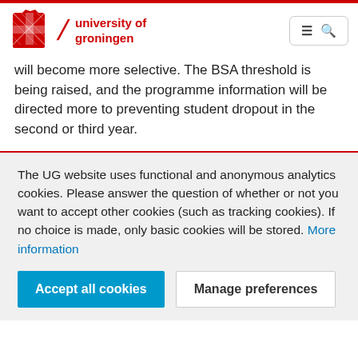[Figure (logo): University of Groningen logo with red crest, slash, and red text 'university of groningen']
will become more selective. The BSA threshold is being raised, and the programme information will be directed more to preventing student dropout in the second or third year.
The UG website uses functional and anonymous analytics cookies. Please answer the question of whether or not you want to accept other cookies (such as tracking cookies). If no choice is made, only basic cookies will be stored. More information
Accept all cookies
Manage preferences